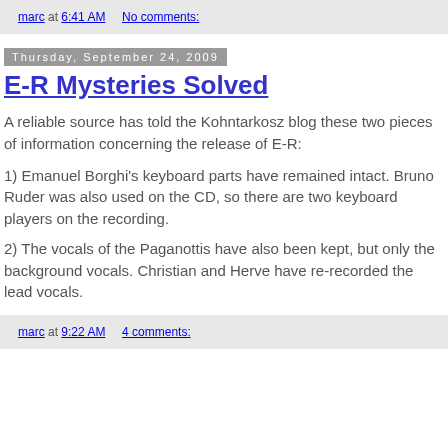marc at 6:41 AM    No comments:
Thursday, September 24, 2009
E-R Mysteries Solved
A reliable source has told the Kohntarkosz blog these two pieces of information concerning the release of E-R:
1) Emanuel Borghi's keyboard parts have remained intact. Bruno Ruder was also used on the CD, so there are two keyboard players on the recording.
2) The vocals of the Paganottis have also been kept, but only the background vocals. Christian and Herve have re-recorded the lead vocals.
marc at 9:22 AM    4 comments: